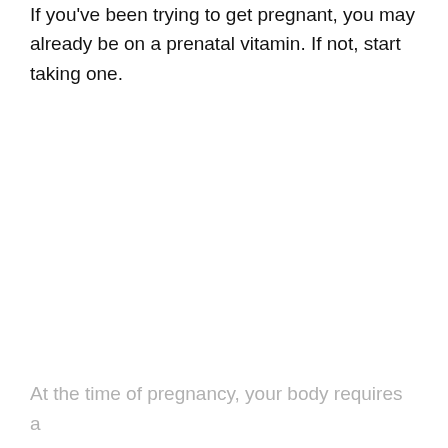If you've been trying to get pregnant, you may already be on a prenatal vitamin. If not, start taking one.
At the time of pregnancy, your body requires a